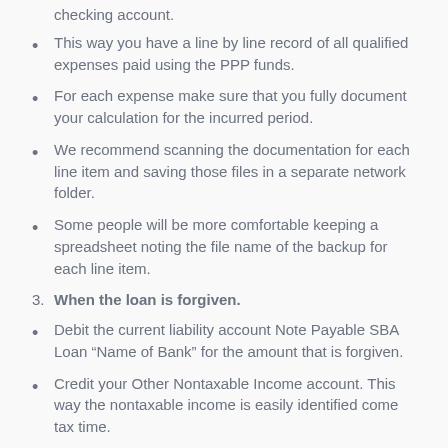checking account.
This way you have a line by line record of all qualified expenses paid using the PPP funds.
For each expense make sure that you fully document your calculation for the incurred period.
We recommend scanning the documentation for each line item and saving those files in a separate network folder.
Some people will be more comfortable keeping a spreadsheet noting the file name of the backup for each line item.
3. When the loan is forgiven.
Debit the current liability account Note Payable SBA Loan “Name of Bank” for the amount that is forgiven.
Credit your Other Nontaxable Income account. This way the nontaxable income is easily identified come tax time.